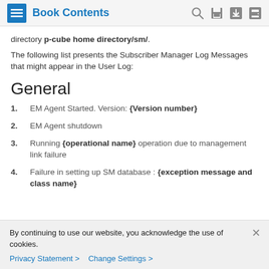Book Contents
directory p-cube home directory/sm/.
The following list presents the Subscriber Manager Log Messages that might appear in the User Log:
General
1. EM Agent Started. Version: {Version number}
2. EM Agent shutdown
3. Running {operational name} operation due to management link failure
4. Failure in setting up SM database : {exception message and class name}
By continuing to use our website, you acknowledge the use of cookies.
Privacy Statement > Change Settings >